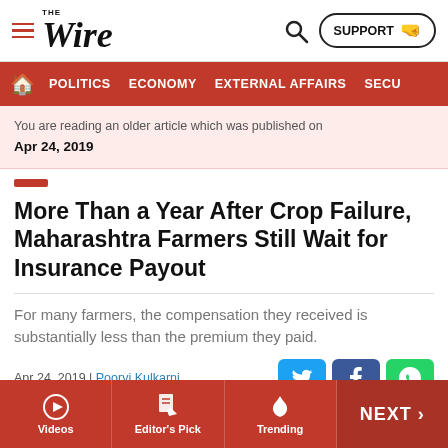THE WIRE — SUPPORT
POLITICS | ECONOMY | EXTERNAL AFFAIRS | SECU...
You are reading an older article which was published on
Apr 24, 2019
More Than a Year After Crop Failure, Maharashtra Farmers Still Wait for Insurance Payout
For many farmers, the compensation they received is substantially less than the premium they paid.
Apr 24, 2019 | Poorvi Kulkarni
[Figure (photo): Photograph of a dry crop field in Maharashtra with a person silhouette visible]
Videos | Editor's Pick | Trending | NEXT >